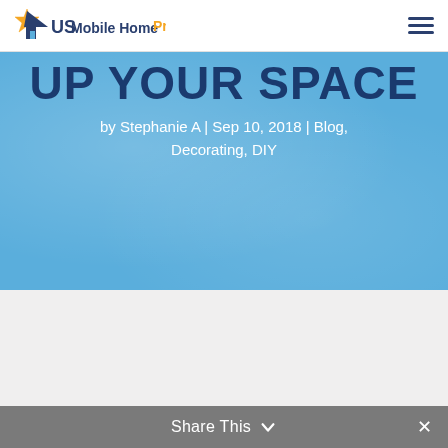US Mobile Home Pros
UP YOUR SPACE
by Stephanie A | Sep 10, 2018 | Blog, Decorating, DIY
Share This